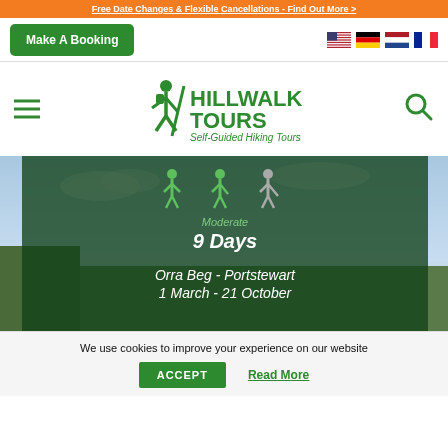Free Date Changes & Flexible Cancellations - Find Out More >
Make A Booking
[Figure (logo): Hillwalk Tours logo with hiker icon and text: HILLWALK TOURS Self-Guided Hiking Tours]
[Figure (photo): Hero image showing hiking difficulty icons (moderate - 3 hiker icons), text: Moderate, 9 Days, Orra Beg - Portstewart, 1 March - 21 October]
We use cookies to improve your experience on our website
ACCEPT
Read More